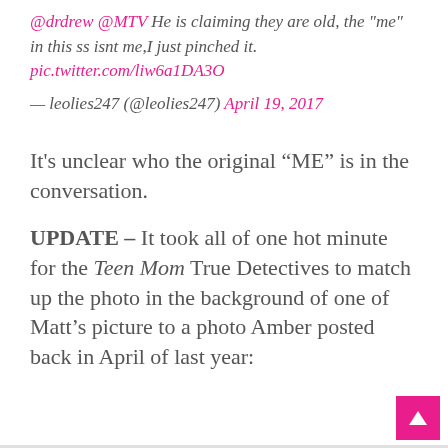@drdrew @MTV He is claiming they are old, the "me" in this ss isnt me,I just pinched it. pic.twitter.com/liw6a1DA3O
— leolies247 (@leolies247) April 19, 2017
It's unclear who the original “ME” is in the conversation.
UPDATE – It took all of one hot minute for the Teen Mom True Detectives to match up the photo in the background of one of Matt’s picture to a photo Amber posted back in April of last year: